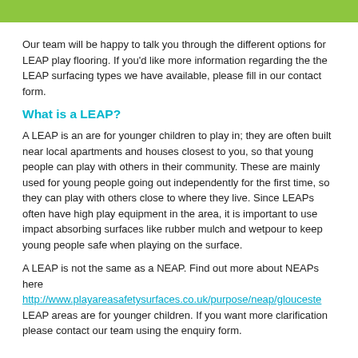[Figure (other): Green horizontal bar at top of page]
Our team will be happy to talk you through the different options for LEAP play flooring. If you'd like more information regarding the the LEAP surfacing types we have available, please fill in our contact form.
What is a LEAP?
A LEAP is an are for younger children to play in; they are often built near local apartments and houses closest to you, so that young people can play with others in their community. These are mainly used for young people going out independently for the first time, so they can play with others close to where they live. Since LEAPs often have high play equipment in the area, it is important to use impact absorbing surfaces like rubber mulch and wetpour to keep young people safe when playing on the surface.
A LEAP is not the same as a NEAP. Find out more about NEAPs here http://www.playareasafetysurfaces.co.uk/purpose/neap/glouceste LEAP areas are for younger children. If you want more clarification please contact our team using the enquiry form.